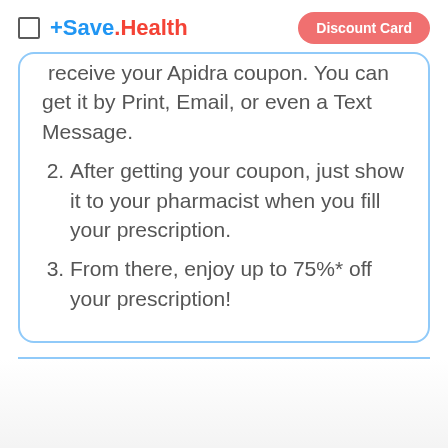Save.Health | Discount Card
receive your Apidra coupon. You can get it by Print, Email, or even a Text Message.
2. After getting your coupon, just show it to your pharmacist when you fill your prescription.
3. From there, enjoy up to 75%* off your prescription!